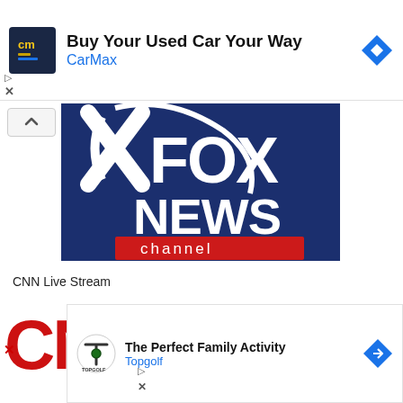[Figure (infographic): CarMax advertisement banner with navy blue CM logo, title 'Buy Your Used Car Your Way', brand name 'CarMax' in blue, and a blue diamond arrow icon on the right.]
[Figure (logo): Fox News Channel logo on dark navy blue background with large white FOX text, NEWS text, a stylized fox graphic, and a red banner reading 'channel']
CNN Live Stream
[Figure (logo): Partial CNN logo in large red bold letters partially visible at bottom of screen]
[Figure (infographic): Topgolf advertisement panel with Topgolf logo, title 'The Perfect Family Activity', brand name 'Topgolf' in blue, and a blue diamond arrow icon.]